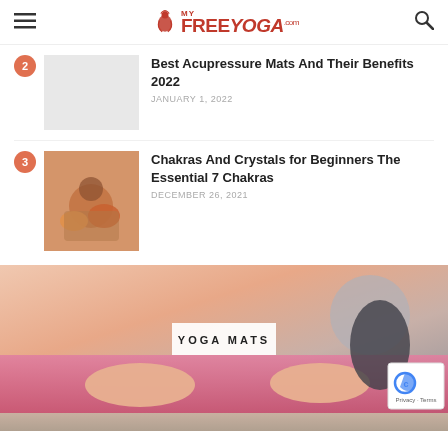MY FREE YOGA .com
Best Acupressure Mats And Their Benefits 2022
JANUARY 1, 2022
Chakras And Crystals for Beginners The Essential 7 Chakras
DECEMBER 26, 2021
[Figure (photo): Yoga Mats banner showing person doing yoga on pink mat with YOGA MATS label overlay]
[Figure (photo): Bottom strip - another article image partially visible]